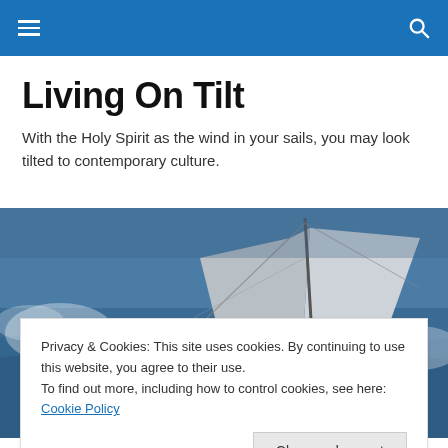Living On Tilt (navigation bar with hamburger menu and search icon)
Living On Tilt
With the Holy Spirit as the wind in your sails, you may look tilted to contemporary culture.
[Figure (photo): Sailing crew in white outfits on a racing yacht heeled over in rough seas, with sails and American flag visible.]
Privacy & Cookies: This site uses cookies. By continuing to use this website, you agree to their use.
To find out more, including how to control cookies, see here: Cookie Policy
This form of editing is variously referred to as Content